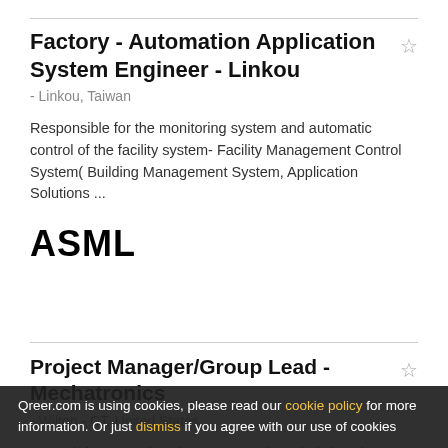Factory - Automation Application System Engineer - Linkou
- Linkou, Taiwan
Responsible for the monitoring system and automatic control of the facility system- Facility Management Control System( Building Management System, Application Solutions ...
[Figure (logo): ASML company logo in bold black text]
Project Manager/Group Lead - Mechatronics
- Wilton - CT, United States
ASML brings together the most creative minds in science
Qreer.com is using cookies, please read our cookie policy for more information. Or just dismiss if you agree with our use of cookies